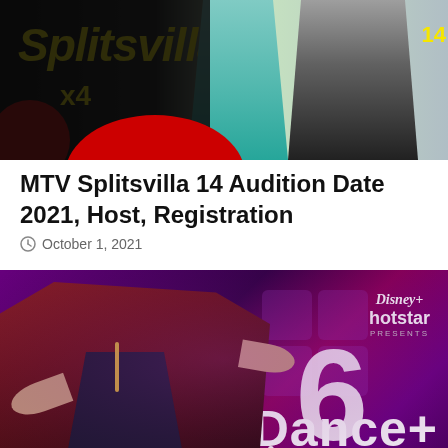[Figure (photo): MTV Splitsvilla 14 show image with logo on black background and two hosts standing]
MTV Splitsvilla 14 Audition Date 2021, Host, Registration
October 1, 2021
[Figure (photo): Dance Plus 6 promotional image with host on purple/magenta stage background with Disney+ Hotstar logo and 'Winner Nam' text visible]